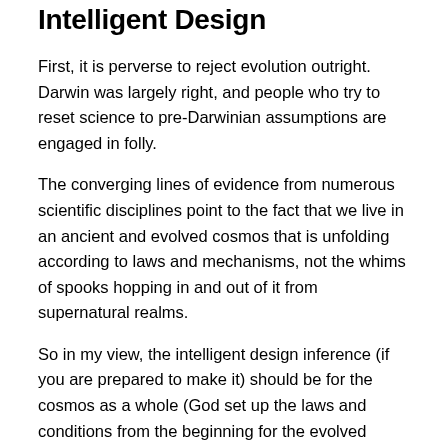Intelligent Design
First, it is perverse to reject evolution outright. Darwin was largely right, and people who try to reset science to pre-Darwinian assumptions are engaged in folly.
The converging lines of evidence from numerous scientific disciplines point to the fact that we live in an ancient and evolved cosmos that is unfolding according to laws and mechanisms, not the whims of spooks hopping in and out of it from supernatural realms.
So in my view, the intelligent design inference (if you are prepared to make it) should be for the cosmos as a whole (God set up the laws and conditions from the beginning for the evolved cosmos we see). We can then, by science, discover the details of the mechanisms set up. Otherwise, anything goes and science is run into a ditch.